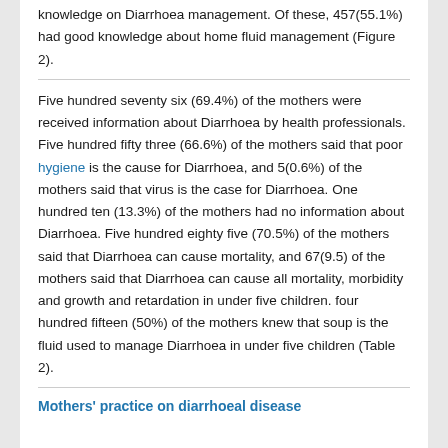knowledge on Diarrhoea management. Of these, 457(55.1%) had good knowledge about home fluid management (Figure 2).
Five hundred seventy six (69.4%) of the mothers were received information about Diarrhoea by health professionals. Five hundred fifty three (66.6%) of the mothers said that poor hygiene is the cause for Diarrhoea, and 5(0.6%) of the mothers said that virus is the case for Diarrhoea. One hundred ten (13.3%) of the mothers had no information about Diarrhoea. Five hundred eighty five (70.5%) of the mothers said that Diarrhoea can cause mortality, and 67(9.5) of the mothers said that Diarrhoea can cause all mortality, morbidity and growth and retardation in under five children. four hundred fifteen (50%) of the mothers knew that soup is the fluid used to manage Diarrhoea in under five children (Table 2).
Mothers' practice on diarrhoeal disease